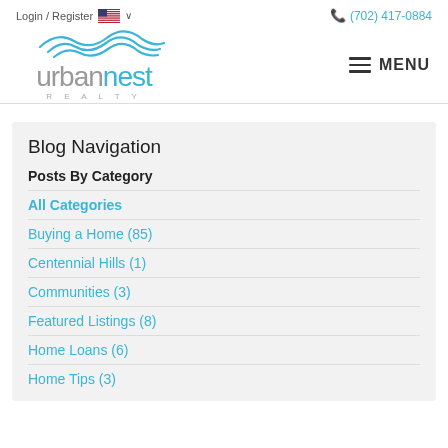Login / Register    (702) 417-0884
[Figure (logo): urbannest REALTY logo with wave/arc graphic above stylized text]
MENU
Blog Navigation
Posts By Category
All Categories
Buying a Home (85)
Centennial Hills (1)
Communities (3)
Featured Listings (8)
Home Loans (6)
Home Tips (3)